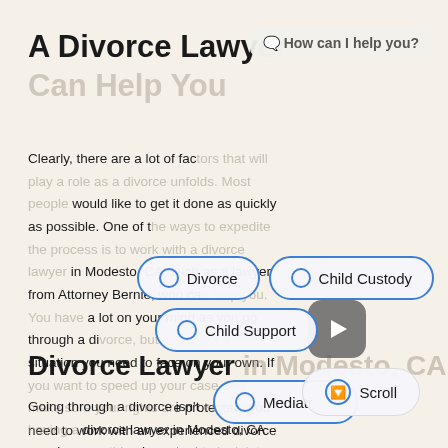A Divorce Lawyer Can Help You
Clearly, there are a lot of factors that will play a role as a divorce unfolds. Most people would like to get it done as quickly as possible. One of the ways to expedite the process is to work with a divorce lawyer in Modesto, CA, such as a lawyer from Attorney Bernie, who can help you. You have a lot on your mind as you go through a divorce, but this is not a situation you need to face on your own. If you want to speed up your case and make sure your rights are protected, you need to work with an experienced divorce lawyer who can guide the way.
Divorce Lawyer in Modesto, CA
Going through a divorce isn't easy, and having a divorce lawyer in Modesto, CA may be something important to look into. It can be a very emotional process and a difficult one to even start.